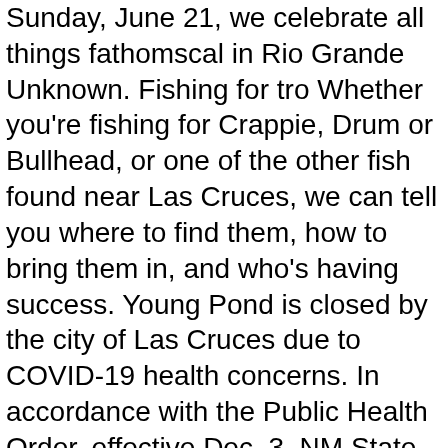Sunday, June 21, we celebrate all things fathomscal in Rio Grande Unknown. Fishing for tro Whether you're fishing for Crappie, Drum or Bullhead, or one of the other fish found near Las Cruces, we can tell you where to find them, how to bring them in, and who's having success. Young Pond is closed by the city of Las Cruces due to COVID-19 health concerns. In accordance with the Public Health Order, effective Dec. 3, NM State Parks reopened to New Mexico residents for day-use only. 4 talking about this. Learn More, 01/15/2021 However, it has also taken a heavy toll on river ecosystems, most of which have been greatly altered and depleted due to dam-flow regulation and water over-extraction. He was using a live blue Fire Dye minnow. Is there a place that we should know about? Alumni Pond Burn Lake is a reservoir located just 1.8 miles from Las Cruces, in Dona Ana County, in the state of New Mexico, United States. Come join us at Leasburg Dam State Park for a fun, lazy float down the Rio Grande! ... 01/15/2021 Closed by NMSU due to COVID health concern. Copyright © 2021 Sportsman's Warehouse. Hey y'all, I may be heading to El Paso for a month for work. Mid April to Mid May. Pleas...